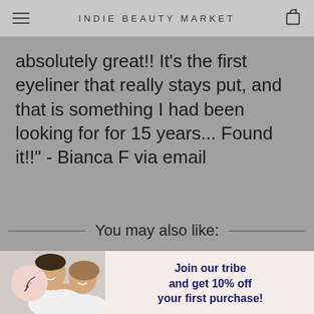INDIE BEAUTY MARKET
absolutely great!! It's the first eyeliner that really stays put, and that is something I had been looking for for 15 years... Found it!!" - Bianca F via email
You may also like:
[Figure (photo): A smiling couple, man and woman in white clothing, embracing]
Join our tribe and get 10% off your first purchase!
Email
First Name
No thanks, I don't like discounts